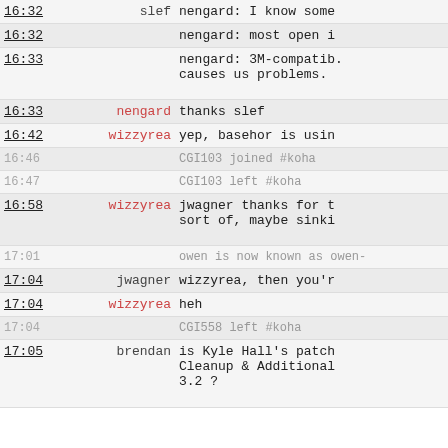| time | nick | message |
| --- | --- | --- |
| 16:32 | slef | nengard: I know some |
| 16:32 |  | nengard: most open i |
| 16:33 |  | nengard: 3M-compatib. causes us problems. |
| 16:33 | nengard | thanks slef |
| 16:42 | wizzyrea | yep, basehor is usin |
| 16:46 |  | CGI103 joined #koha |
| 16:47 |  | CGI103 left #koha |
| 16:58 | wizzyrea | jwagner thanks for t sort of, maybe sinki |
| 17:01 |  | owen is now known as owen- |
| 17:04 | jwagner | wizzyrea, then you'r |
| 17:04 | wizzyrea | heh |
| 17:04 |  | CGI558 left #koha |
| 17:05 | brendan | is Kyle Hall's patch Cleanup & Additional 3.2 ? |